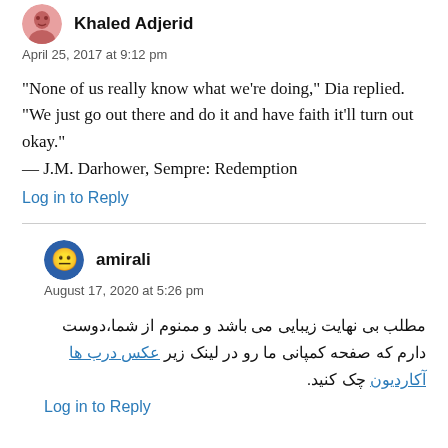[Figure (illustration): Avatar image of Khaled Adjerid - circular profile picture]
Khaled Adjerid
April 25, 2017 at 9:12 pm
“None of us really know what we’re doing,” Dia replied. “We just go out there and do it and have faith it’ll turn out okay.”
— J.M. Darhower, Sempre: Redemption
Log in to Reply
[Figure (illustration): Avatar image of amirali - circular profile picture with ghost emoji]
amirali
August 17, 2020 at 5:26 pm
مطلب بی نهایت زیبایی می باشد و ممنوم از شما،دوست دارم که صفحه کمپانی ما رو در لینک زیر عکس درب ها چک کنید.آکاردیون
Log in to Reply